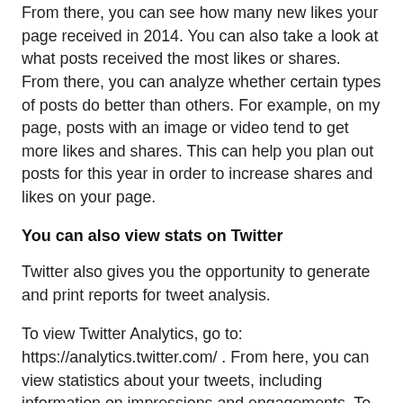From there, you can see how many new likes your page received in 2014. You can also take a look at what posts received the most likes or shares. From there, you can analyze whether certain types of posts do better than others. For example, on my page, posts with an image or video tend to get more likes and shares. This can help you plan out posts for this year in order to increase shares and likes on your page.
You can also view stats on Twitter
Twitter also gives you the opportunity to generate and print reports for tweet analysis.
To view Twitter Analytics, go to: https://analytics.twitter.com/ . From here, you can view statistics about your tweets, including information on impressions and engagements. To run a report in Twitter Analytics, just press the “Export Data” button close to the